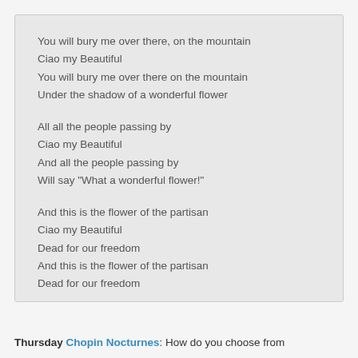You will bury me over there, on the mountain
Ciao my Beautiful
You will bury me over there on the mountain
Under the shadow of a wonderful flower

All all the people passing by
Ciao my Beautiful
And all the people passing by
Will say "What a wonderful flower!"

And this is the flower of the partisan
Ciao my Beautiful
Dead for our freedom
And this is the flower of the partisan
Dead for our freedom
Thursday Chopin Nocturnes: How do you choose from